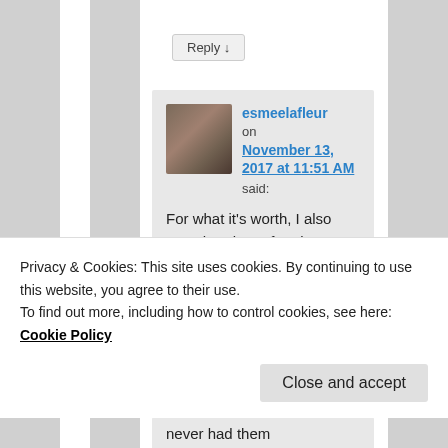Reply ↓
[Figure (screenshot): User comment from esmeelafleur on November 13, 2017 at 11:51 AM. Avatar shows a dog photo. Comment text reads: For what it's worth, I also wore headgear for about 4 years prior to getting]
Privacy & Cookies: This site uses cookies. By continuing to use this website, you agree to their use.
To find out more, including how to control cookies, see here: Cookie Policy
Close and accept
never had them